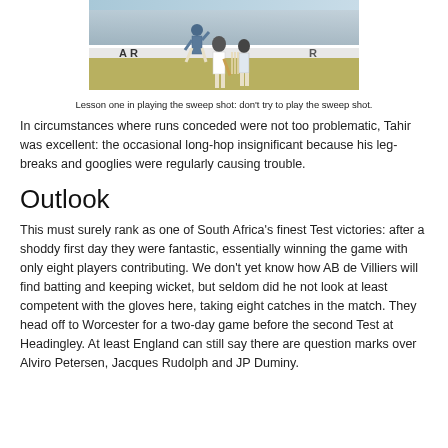[Figure (photo): Cricket players on a field — batsman playing a sweep shot with wicketkeeper and bowler visible, crowd in background]
Lesson one in playing the sweep shot: don't try to play the sweep shot.
In circumstances where runs conceded were not too problematic, Tahir was excellent: the occasional long-hop insignificant because his leg-breaks and googlies were regularly causing trouble.
Outlook
This must surely rank as one of South Africa's finest Test victories: after a shoddy first day they were fantastic, essentially winning the game with only eight players contributing. We don't yet know how AB de Villiers will find batting and keeping wicket, but seldom did he not look at least competent with the gloves here, taking eight catches in the match. They head off to Worcester for a two-day game before the second Test at Headingley. At least England can still say there are question marks over Alviro Petersen, Jacques Rudolph and JP Duminy.